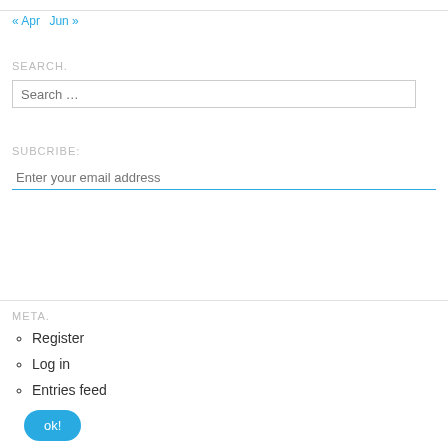« Apr   Jun »
SEARCH.
Search …
SUBCRIBE:
Enter your email address
ok!
META.
Register
Log in
Entries feed